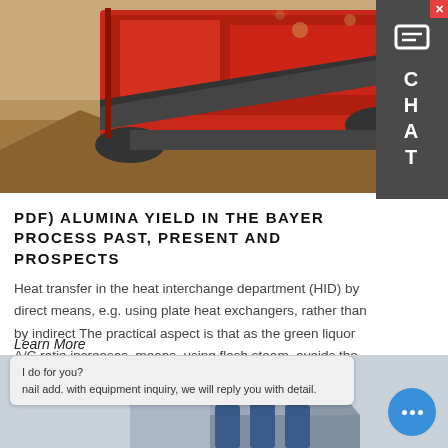[Figure (photo): Red industrial mining/crushing machine operating in a quarry, processing rock and sand material.]
PDF) ALUMINA YIELD IN THE BAYER PROCESS PAST, PRESENT AND PROSPECTS
Heat transfer in the heat interchange department (HID) by direct means, e.g. using plate heat exchangers, rather than by indirect The practical aspect is that as the green liquor A/C ratio increases, means, using flash steam, avoids the liquor concentrating
Learn More
[Figure (photo): Industrial facility with triangular roof structures and blue equipment, partially visible at bottom of page.]
I do for you?
nail add. with equipment inquiry, we will reply you with detail.